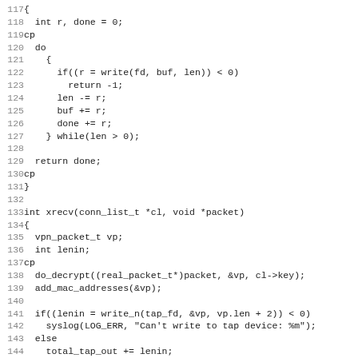Source code listing lines 117-148, showing C functions with write loop and xrecv function